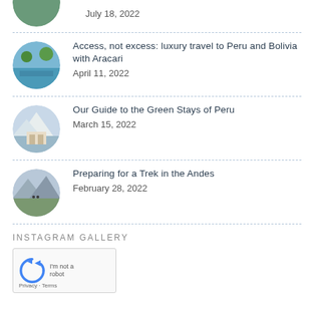[Figure (photo): Partial circular photo thumbnail cut off at top, showing landscape/nature scene]
July 18, 2022
[Figure (photo): Circular thumbnail showing tropical scene with palm trees and water]
Access, not excess: luxury travel to Peru and Bolivia with Aracari
April 11, 2022
[Figure (photo): Circular thumbnail showing snowy mountain landscape with buildings]
Our Guide to the Green Stays of Peru
March 15, 2022
[Figure (photo): Circular thumbnail showing Andes mountain valley with hikers]
Preparing for a Trek in the Andes
February 28, 2022
INSTAGRAM GALLERY
[Figure (other): reCAPTCHA widget box with rotating arrows icon and Privacy - Terms links]